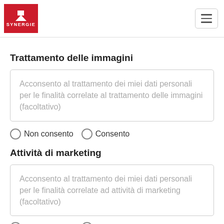SYNERGIE
Trattamento delle immagini
Acconsento al trattamento dei miei dati personali per le finalità correlate al trattamento delle immagini (facoltativo)
Non consento   Consento
Attività di marketing
Acconsento al trattamento dei miei dati personali per le finalità correlate ad attività di marketing (facoltativo)
Non consento   Consento